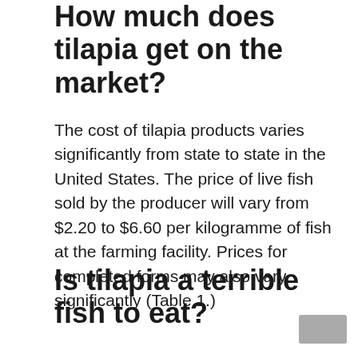How much does tilapia get on the market?
The cost of tilapia products varies significantly from state to state in the United States. The price of live fish sold by the producer will vary from $2.20 to $6.60 per kilogramme of fish at the farming facility. Prices for completed forms may also vary significantly (Table 1.)
Is tilapia a terrible fish to eat?